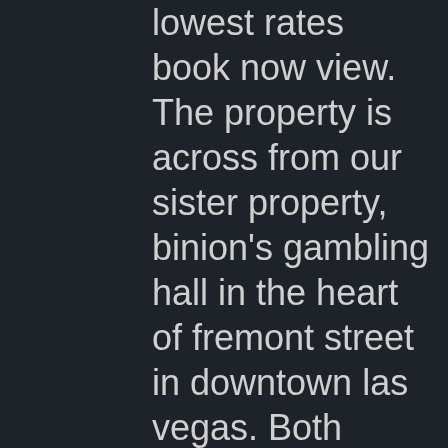lowest rates book now view. The property is across from our sister property, binion's gambling hall in the heart of fremont street in downtown las vegas. Both properties are owned by tlc. Com; edwin lau yinglau@boydgaming. Com; oscar "luis" hernandez oscarhernandez@boydgaming. Sam's town hotel & gambling hall, las vegas. Boyd gaming shuttle tracker. Contact us take a tour. To navigate, press the arrow keys. Gold coast hotel and casino. Orleans hotel and casino. Are the only casinos in southern nevada to have received sharp status. Located just minutes from the las vegas strip, gold coast offers true locals hospitality, a place where locals and visitors alike can feel at home. Eastside cannery drawings will be held on casino floor, near promotions center. 3rd and locust streets, it was said to be the largest gambling house. Gold coast is a hotel and casino located on 4000 w.